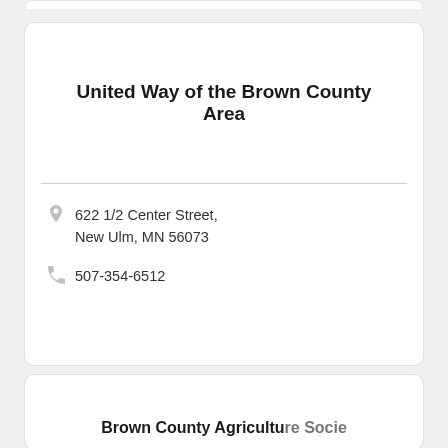United Way of the Brown County Area
622 1/2 Center Street, New Ulm, MN 56073
507-354-6512
Brown County Agriculture Society